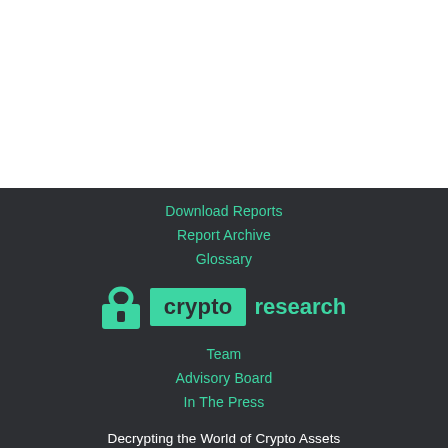Download Reports
Report Archive
Glossary
[Figure (logo): Crypto Research logo: padlock icon on the left, green rectangle with 'crypto' text in dark, followed by 'research' in green]
Team
Advisory Board
In The Press
Decrypting the World of Crypto Assets